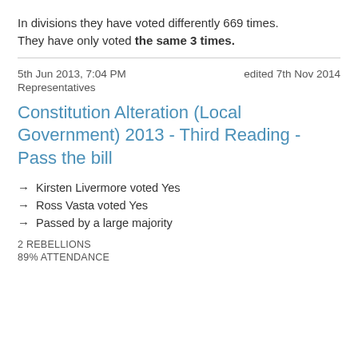In divisions they have voted differently 669 times. They have only voted the same 3 times.
5th Jun 2013, 7:04 PM   edited 7th Nov 2014
Representatives
Constitution Alteration (Local Government) 2013 - Third Reading - Pass the bill
→ Kirsten Livermore voted Yes
→ Ross Vasta voted Yes
→ Passed by a large majority
2 REBELLIONS
89% ATTENDANCE